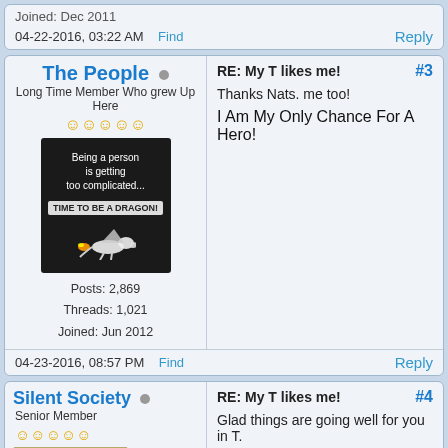Joined: Dec 2011
04-22-2016, 03:22 AM    Find    Reply
The People
Long Time Member Who Grew Up Here
Posts: 2,869
Threads: 1,021
Joined: Jun 2012
RE: My T likes me!
Thanks Nats. me too!
I Am My Only Chance For A Hero!
#3
04-23-2016, 08:57 PM    Find    Reply
Silent Society
Senior Member
RE: My T likes me!
Glad things are going well for you in T.
#4